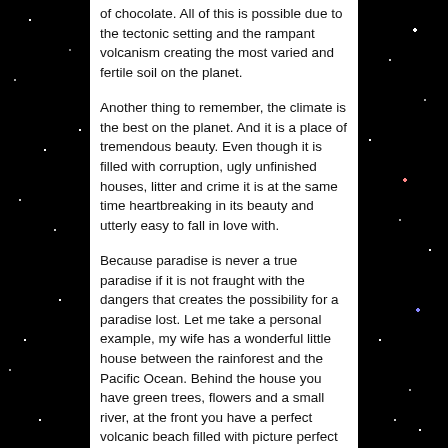of chocolate. All of this is possible due to the tectonic setting and the rampant volcanism creating the most varied and fertile soil on the planet.
Another thing to remember, the climate is the best on the planet. And it is a place of tremendous beauty. Even though it is filled with corruption, ugly unfinished houses, litter and crime it is at the same time heartbreaking in its beauty and utterly easy to fall in love with.
Because paradise is never a true paradise if it is not fraught with the dangers that creates the possibility for a paradise lost. Let me take a personal example, my wife has a wonderful little house between the rainforest and the Pacific Ocean. Behind the house you have green trees, flowers and a small river, at the front you have a perfect volcanic beach filled with picture perfect palm trees and sunsets over the Pacific.
At any time there may be a megathrust earthquake out in the ocean and in comes a tsunami and